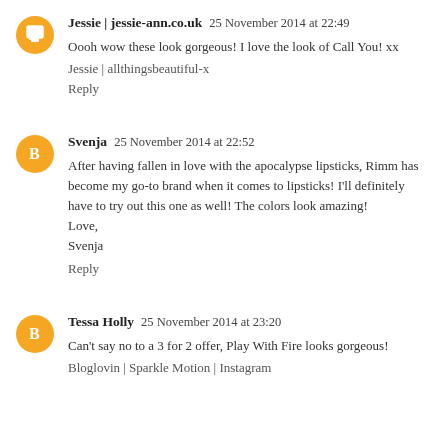Jessie | jessie-ann.co.uk  25 November 2014 at 22:49
Oooh wow these look gorgeous! I love the look of Call You! xx
Jessie | allthingsbeautiful-x
Reply
Svenja  25 November 2014 at 22:52
After having fallen in love with the apocalypse lipsticks, Rimm has become my go-to brand when it comes to lipsticks! I'll definitely have to try out this one as well! The colors look amazing!
Love,
Svenja
Reply
Tessa Holly  25 November 2014 at 23:20
Can't say no to a 3 for 2 offer, Play With Fire looks gorgeous!
Bloglovin | Sparkle Motion | Instagram